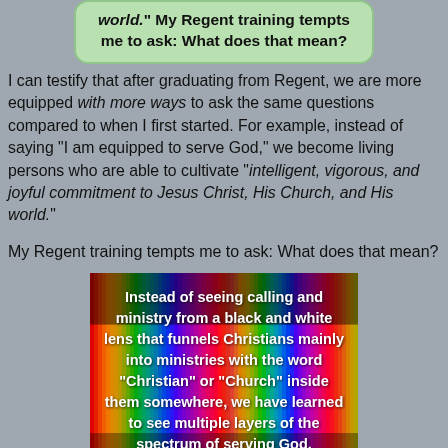[Figure (other): Green rounded speech bubble with italic bold text: world." My Regent training tempts me to ask: What does that mean?]
I can testify that after graduating from Regent, we are more equipped with more ways to ask the same questions compared to when I first started. For example, instead of saying "I am equipped to serve God," we become living persons who are able to cultivate "intelligent, vigorous, and joyful commitment to Jesus Christ, His Church, and His world."
My Regent training tempts me to ask: What does that mean?
[Figure (other): Colorful rainbow vertical lines background with white bold text: Instead of seeing calling and ministry from a black and white lens that funnels Christians mainly into ministries with the word "Christian" or "Church" inside them somewhere, we have learned to see multiple layers of the spectrum of serving God.]